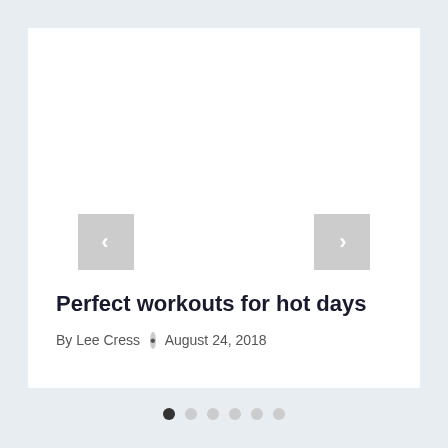[Figure (screenshot): A web page carousel/slider UI component showing a white card with image area placeholder, left and right navigation arrow buttons (gray), article title, author, and date below the image.]
Perfect workouts for hot days
By Lee Cress • August 24, 2018